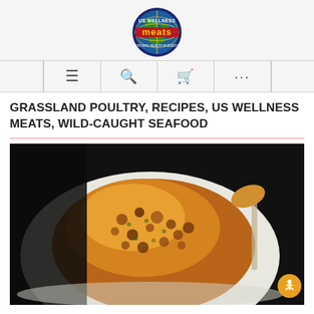[Figure (logo): US Wellness Meats circular logo with globe and text]
[Figure (infographic): Navigation bar with hamburger menu, search, cart, and more icons]
GRASSLAND POULTRY, RECIPES, US WELLNESS MEATS, WILD-CAUGHT SEAFOOD
[Figure (photo): Close-up photo of a baked or roasted piece of poultry or seafood with golden-brown herb crust on a white plate]